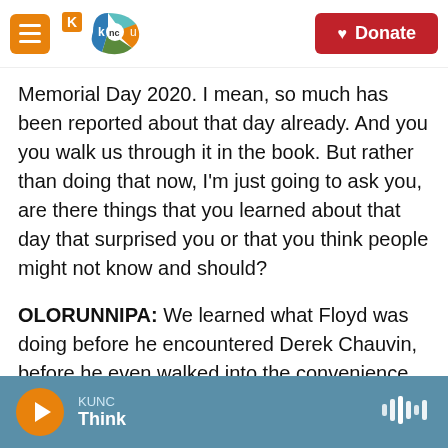[Figure (screenshot): KUNC radio website navigation bar with hamburger menu button, KUNC logo, and red Donate button]
Memorial Day 2020. I mean, so much has been reported about that day already. And you you walk us through it in the book. But rather than doing that now, I'm just going to ask you, are there things that you learned about that day that surprised you or that you think people might not know and should?
OLORUNNIPA: We learned what Floyd was doing before he encountered Derek Chauvin, before he even walked into the convenience store where he was alleged to have used the counterfeit $20 bill. He was, you know, meeting up with friends. He was supposed to be at a barbecue later that day. He
KUNC Think